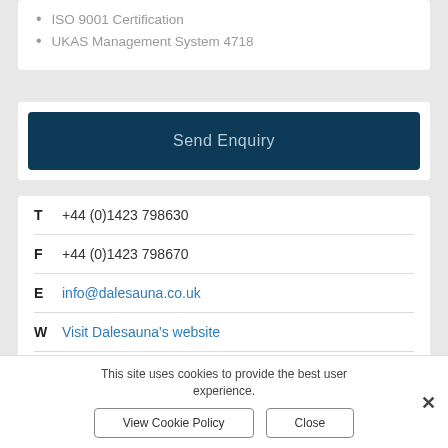ISO 9001 Certification
UKAS Management System 4718
Send Enquiry
T  +44 (0)1423 798630
F  +44 (0)1423 798670
E  info@dalesauna.co.uk
W  Visit Dalesauna's website
Jubilee Court, Copgrove, HG3 3TB
This site uses cookies to provide the best user experience.
View Cookie Policy
Close